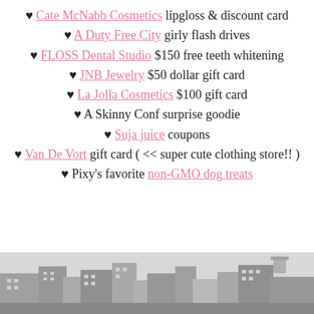♥ Cate McNabb Cosmetics lipgloss & discount card
♥ A Duty Free City girly flash drives
♥ FLOSS Dental Studio $150 free teeth whitening
♥ JNB Jewelry $50 dollar gift card
♥ La Jolla Cosmetics $100 gift card
♥ A Skinny Conf surprise goodie
♥ Suja juice coupons
♥ Van De Vort gift card ( << super cute clothing store!! )
♥ Pixy's favorite non-GMO dog treats
[Figure (photo): Black and white photo of a city street scene with buildings]